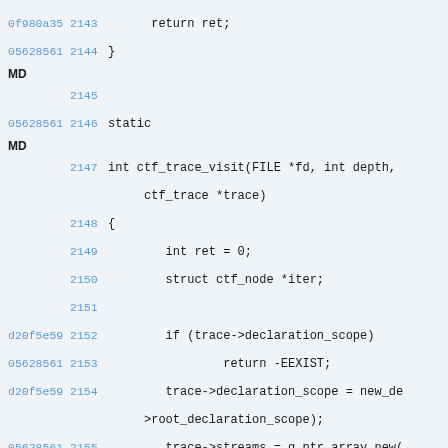0f980a35 2143     return ret;
05628561 2144 }
MD
         2145
05628561 2146 static
MD
2147 int ctf_trace_visit(FILE *fd, int depth,
              ctf_trace *trace)
2148 {
2149         int ret = 0;
2150         struct ctf_node *iter;
2151
d20f5e59 2152         if (trace->declaration_scope)
05628561 2153                 return -EEXIST;
d20f5e59 2154         trace->declaration_scope = new_de
              >root_declaration_scope);
05628561 2155         trace->streams = g_ptr_array_new(
e003ab50 2156         trace->event_declarations = g_ptr